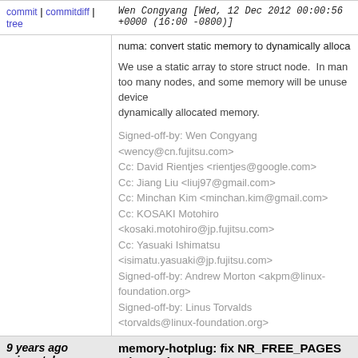commit | commitdiff | tree    Wen Congyang [Wed, 12 Dec 2012 00:00:56 +0000 (16:00 -0800)]
numa: convert static memory to dynamically alloca

We use a static array to store struct node.  In man too many nodes, and some memory will be unuse device dynamically allocated memory.

Signed-off-by: Wen Congyang <wency@cn.fujitsu.com>
Cc: David Rientjes <rientjes@google.com>
Cc: Jiang Liu <liuj97@gmail.com>
Cc: Minchan Kim <minchan.kim@gmail.com>
Cc: KOSAKI Motohiro <kosaki.motohiro@jp.fujitsu.com>
Cc: Yasuaki Ishimatsu <isimatu.yasuaki@jp.fujitsu.com>
Signed-off-by: Andrew Morton <akpm@linux-foundation.org>
Signed-off-by: Linus Torvalds <torvalds@linux-foundation.org>
9 years ago   memory-hotplug: fix NR_FREE_PAGES mismatch
commit | commitdiff | tree    Wen Congyang [Wed, 12 Dec 2012 00:00:52 +0000 (16:00 -0800)]